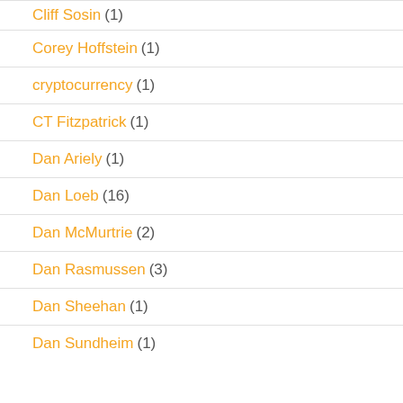Cliff Sosin (1)
Corey Hoffstein (1)
cryptocurrency (1)
CT Fitzpatrick (1)
Dan Ariely (1)
Dan Loeb (16)
Dan McMurtrie (2)
Dan Rasmussen (3)
Dan Sheehan (1)
Dan Sundheim (1)